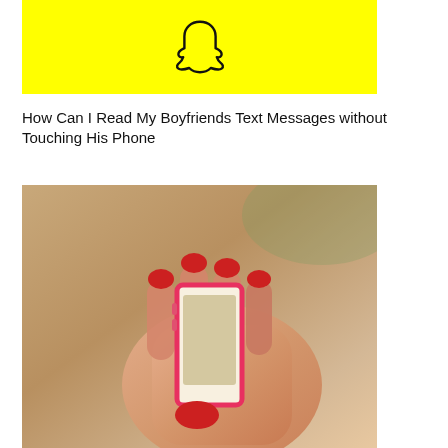[Figure (photo): Snapchat logo — white ghost outline on yellow background]
How Can I Read My Boyfriends Text Messages without Touching His Phone
[Figure (photo): Woman's hand with red nail polish holding a pink iPhone, viewed from the side/back]